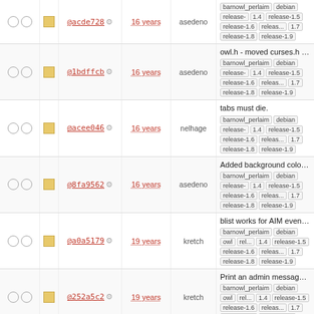| checks | icon | hash | age | author | info |
| --- | --- | --- | --- | --- | --- |
| ○ ○ | ■ | @acde728 | 16 years | asedeno | 1.4 release-1.5 release-1.6 release- 1.7 release-1.8 release-1.9 |
| ○ ○ | ■ | @1bdffcb | 16 years | asedeno | owl.h - moved curses.h back up... building on Solaris would work. barnowl_perlaim debian release- 1.4 release-1.5 release-1.6 releas... 1.7 release-1.8 release-1.9 |
| ○ ○ | ■ | @acee046 | 16 years | nelhage | tabs must die. barnowl_perlaim debian release- 1.4 release-1.5 release-1.6 releas... 1.7 release-1.8 release-1.9 |
| ○ ○ | ■ | @8fa9562 | 16 years | asedeno | Added background color suppo... owl. If we run out of color pairs... barnowl_perlaim debian release- 1.4 release-1.5 release-1.6 releas... 1.7 release-1.8 release-1.9 |
| ○ ○ | ■ | @a0a5179 | 19 years | kretch | blist works for AIM even if the z... .anyone can't be read AIM Budd... barnowl_perlaim debian owl rel... 1.4 release-1.5 release-1.6 releas... 1.7 release-1.8 release-1.9 |
| ○ ○ | ■ | @252a5c2 | 19 years | kretch | Print an admin message indicat... when subscriptions can not be ... barnowl_perlaim debian owl rel... 1.4 release-1.5 release-1.6 releas... 1.7 release-1.8 release-1.9 |
| ○ ○ | ■ | @12c35df | 19 years | kretch | Fixed replies to loopback messa... Fixed smartnarrow on ... barnowl_perlaim debian owl rel... 1.4 release-1.5 release-1.6 releas... 1.7 release-1.8 release-1.9 |
| ○ ○ | ■ |  |  |  | Styles implemented It's still a lit... buggy... if a format_msg() is... |